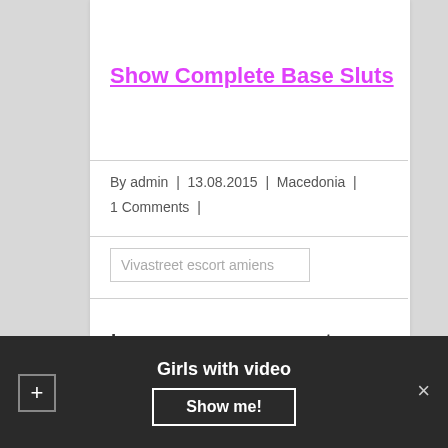Show Complete Base Sluts
By admin | 13.08.2015 | Macedonia | 1 Comments |
Vivastreet escort amiens
Leave a comment
Your email address will not be published. Required fields are marked with
Girls with video
Show me!